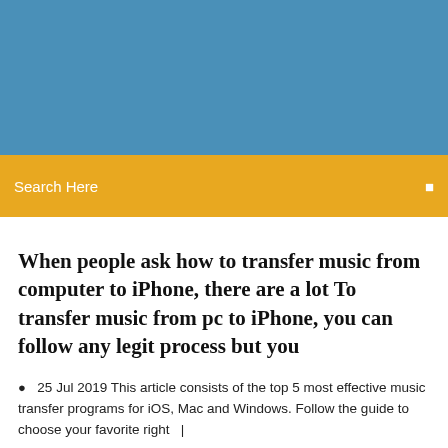[Figure (other): Blue header banner background]
Search Here
When people ask how to transfer music from computer to iPhone, there are a lot To transfer music from pc to iPhone, you can follow any legit process but you
25 Jul 2019 This article consists of the top 5 most effective music transfer programs for iOS, Mac and Windows. Follow the guide to choose your favorite right  |